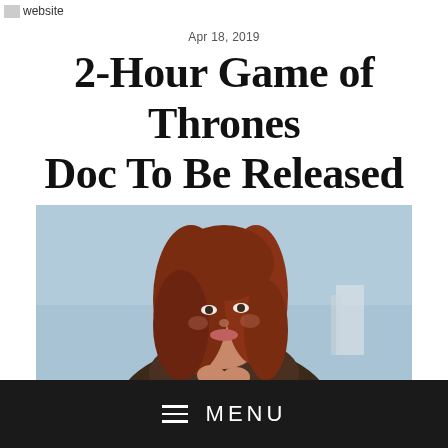website
Apr 18, 2019
2-Hour Game of Thrones Doc To Be Released
[Figure (photo): Portrait of a young woman with red/auburn hair, wearing a dark fur-collared coat, photographed outdoors with a blurred urban skyline and light blue sky in the background.]
MENU